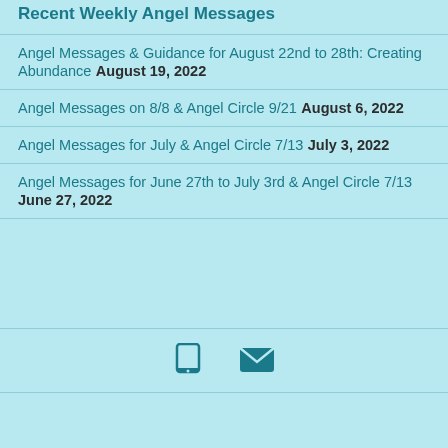Recent Weekly Angel Messages
Angel Messages & Guidance for August 22nd to 28th: Creating Abundance August 19, 2022
Angel Messages on 8/8 & Angel Circle 9/21 August 6, 2022
Angel Messages for July & Angel Circle 7/13 July 3, 2022
Angel Messages for June 27th to July 3rd & Angel Circle 7/13 June 27, 2022
phone icon, email icon